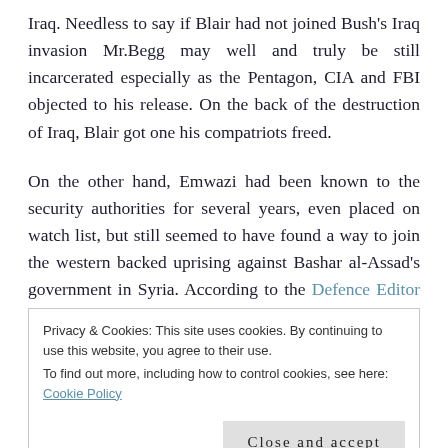Iraq. Needless to say if Blair had not joined Bush's Iraq invasion Mr.Begg may well and truly be still incarcerated especially as the Pentagon, CIA and FBI objected to his release. On the back of the destruction of Iraq, Blair got one his compatriots freed.
On the other hand, Emwazi had been known to the security authorities for several years, even placed on watch list, but still seemed to have found a way to join the western backed uprising against Bashar al-Assad's government in Syria. According to the Defence Editor of
Privacy & Cookies: This site uses cookies. By continuing to use this website, you agree to their use.
To find out more, including how to control cookies, see here: Cookie Policy
Close and accept